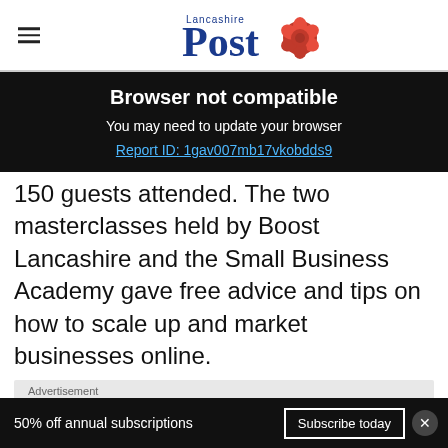Lancashire Post [logo with rose]
Browser not compatible
You may need to update your browser
Report ID: 1gav007mb17vkobdds9
150 guests attended. The two masterclasses held by Boost Lancashire and the Small Business Academy gave free advice and tips on how to scale up and market businesses online.
Advertisement
m speakers; staurant and
50% off annual subscriptions  Subscribe today  ×